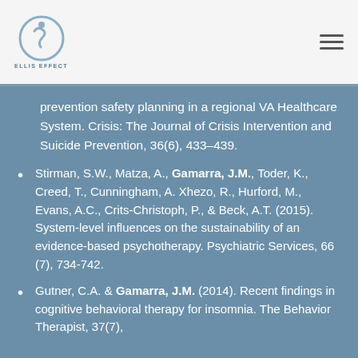Ellis Effect [logo]
prevention safety planning in a regional VA Healthcare System. Crisis: The Journal of Crisis Intervention and Suicide Prevention, 36(6), 433–439.
Stirman, S.W., Matza, A., Gamarra, J.M., Toder, K., Creed, T., Cunningham, A. Xhezo, R., Hurford, M., Evans, A.C., Crits-Christoph, P., & Beck, A.T. (2015). System-level influences on the sustainability of an evidence-based psychotherapy. Psychiatric Services, 66 (7), 734-742.
Gutner, C.A. & Gamarra, J.M. (2014). Recent findings in cognitive behavioral therapy for insomnia. The Behavior Therapist, 37(7),